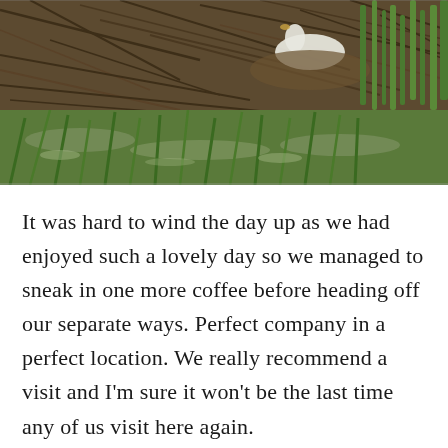[Figure (photo): A photograph of a wetland or marsh area showing a white swan nesting or resting on a mound of dry reeds and sticks, surrounded by green grasses, reeds and muddy water.]
It was hard to wind the day up as we had enjoyed such a lovely day so we managed to sneak in one more coffee before heading off our separate ways. Perfect company in a perfect location. We really recommend a visit and I'm sure it won't be the last time any of us visit here again.